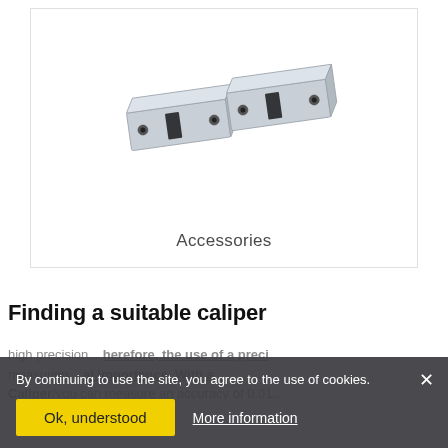[Figure (photo): Product card showing two silver/grey metal accessory blocks (caliper accessories) with black slots, displayed side by side at a slight angle, with the label 'Accessories' below them inside a white bordered card.]
Accessories
Finding a suitable caliper
By continuing to use the site, you agree to the use of cookies.
high preci... herefore, the use of a preci... measuring... al importance. With a Caliper/you can measure an accuracy of 0.01...